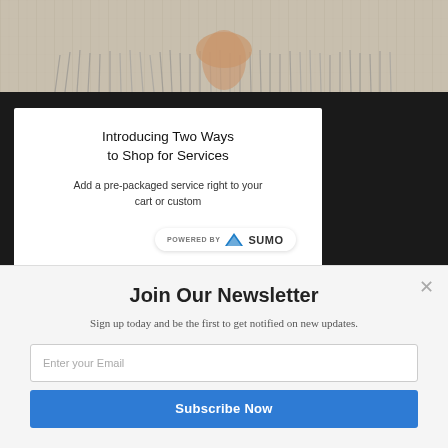[Figure (photo): Top strip showing a person wearing a white/cream fringed textile or garment, cropped to show fabric and hands]
[Figure (screenshot): Partial web page card with title 'Introducing Two Ways to Shop for Services' and text 'Add a pre-packaged service right to your cart or custom...' with a 'Powered by SUMO' badge overlay]
Join Our Newsletter
Sign up today and be the first to get notified on new updates.
Enter your Email
Subscribe Now